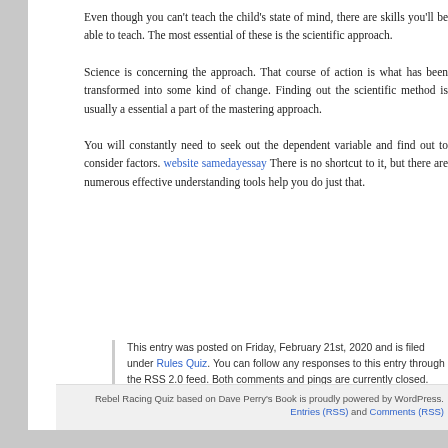Even though you can't teach the child's state of mind, there are skills you'll be able to teach. The most essential of these is the scientific approach.
Science is concerning the approach. That course of action is what has been transformed into some kind of change. Finding out the scientific method is usually a essential a part of the mastering approach.
You will constantly need to seek out the dependent variable and find out to consider factors. website samedayessay... There is no shortcut to it, but there are numerous effective understanding tools help you do just that.
This entry was posted on Friday, February 21st, 2020 ... Rules Quiz. You can follow any responses to this entry ... Both comments and pings are currently closed.
Comments are closed.
Rebel Racing Quiz based on Dave Perry's Book is proud... Entries (RSS) and Comments (RSS)